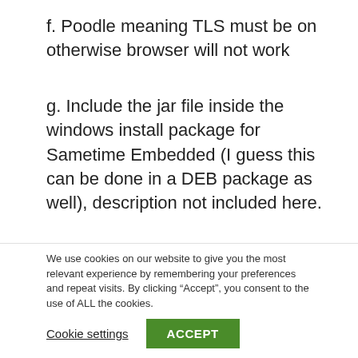f. Poodle meaning TLS must be on otherwise browser will not work
g. Include the jar file inside the windows install package for Sametime Embedded (I guess this can be done in a DEB package as well), description not included here.
When all this is done login.jsp (3. above) must be changed to reflect decisions made earlier
We use cookies on our website to give you the most relevant experience by remembering your preferences and repeat visits. By clicking “Accept”, you consent to the use of ALL the cookies.
Cookie settings
ACCEPT